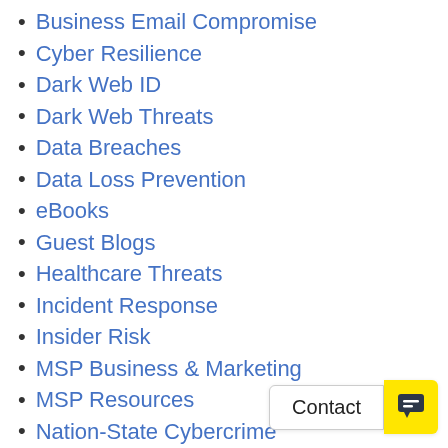Business Email Compromise
Cyber Resilience
Dark Web ID
Dark Web Threats
Data Breaches
Data Loss Prevention
eBooks
Guest Blogs
Healthcare Threats
Incident Response
Insider Risk
MSP Business & Marketing
MSP Resources
Nation-State Cybercrime
News
Passly
Password Security
Phishing
Ransomware & Malware